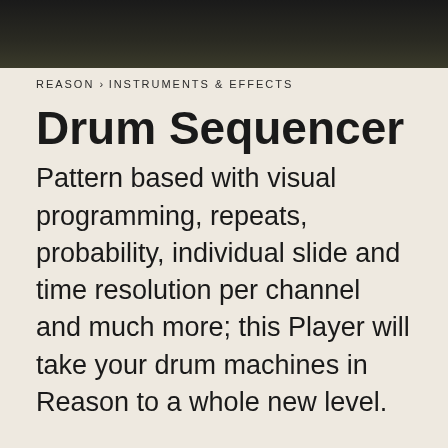REASON › INSTRUMENTS & EFFECTS
Drum Sequencer
Pattern based with visual programming, repeats, probability, individual slide and time resolution per channel and much more; this Player will take your drum machines in Reason to a whole new level.